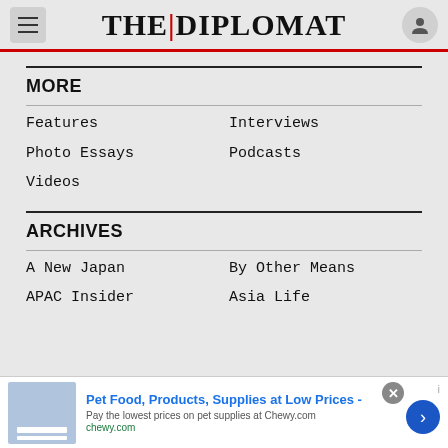THE|DIPLOMAT
MORE
Features
Interviews
Photo Essays
Podcasts
Videos
ARCHIVES
A New Japan
By Other Means
APAC Insider
Asia Life
Pet Food, Products, Supplies at Low Prices - Pay the lowest prices on pet supplies at Chewy.com chewy.com